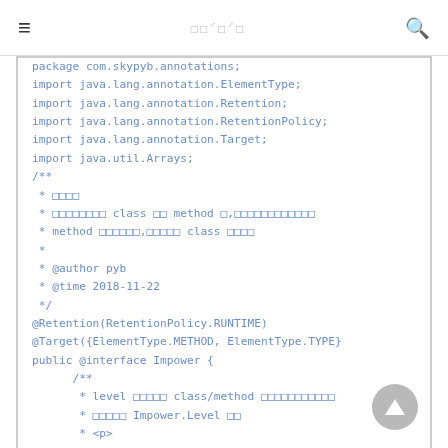≡   □□♂□♂□   🔍
package com.skypyb.annotations;
import java.lang.annotation.ElementType;
import java.lang.annotation.Retention;
import java.lang.annotation.RetentionPolicy;
import java.lang.annotation.Target;
import java.util.Arrays;
/**
 * □□□□
 * □□□□□□□□ class □□ method □,□□□□□□□□□□□□
 * method □□□□□□,□□□□□ class □□□□
 *
 * @author pyb
 * @time 2018-11-22
 */
@Retention(RetentionPolicy.RUNTIME)
@Target({ElementType.METHOD, ElementType.TYPE})
public @interface Impower {
    /**
     * level □□□□□ class/method □□□□□□□□□□□
     * □□□□□ Impower.Level □□
     * <p>
     * □□□□□□□□□□□□□□
     * <p>
     * □□□□□ : □□□□□□□□□□□□□□□□□□□□□□□□□
     * □□□□□□□□□□□□□□